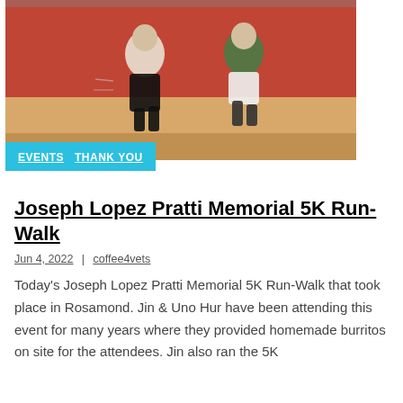[Figure (photo): Two runners running on a track with a red fence/wall in the background. One runner wears a white shirt and black shorts, the other wears a green shirt and white shorts.]
EVENTS  THANK YOU
Joseph Lopez Pratti Memorial 5K Run-Walk
Jun 4, 2022  |  coffee4vets
Today's Joseph Lopez Pratti Memorial 5K Run-Walk that took place in Rosamond. Jin & Uno Hur have been attending this event for many years where they provided homemade burritos on site for the attendees. Jin also ran the 5K